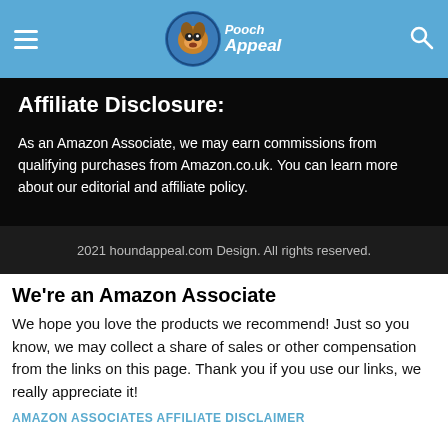Pooch Appeal — navigation header with hamburger menu, logo, and search icon
Affiliate Disclosure:
As an Amazon Associate, we may earn commissions from qualifying purchases from Amazon.co.uk. You can learn more about our editorial and affiliate policy.
2021 houndappeal.com Design. All rights reserved.
We're an Amazon Associate
We hope you love the products we recommend! Just so you know, we may collect a share of sales or other compensation from the links on this page. Thank you if you use our links, we really appreciate it!
AMAZON ASSOCIATES AFFILIATE DISCLAIMER